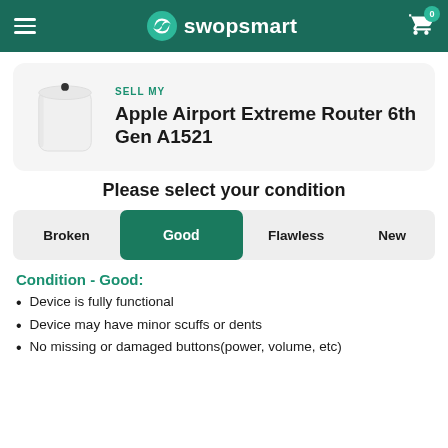swopsmart — navigation header with hamburger menu, logo, and cart (0 items)
[Figure (screenshot): Apple Airport Extreme Router 6th Gen A1521 product card with product image and 'SELL MY' label]
SELL MY
Apple Airport Extreme Router 6th Gen A1521
Please select your condition
Broken | Good (selected) | Flawless | New
Condition - Good:
Device is fully functional
Device may have minor scuffs or dents
No missing or damaged buttons(power, volume, etc)